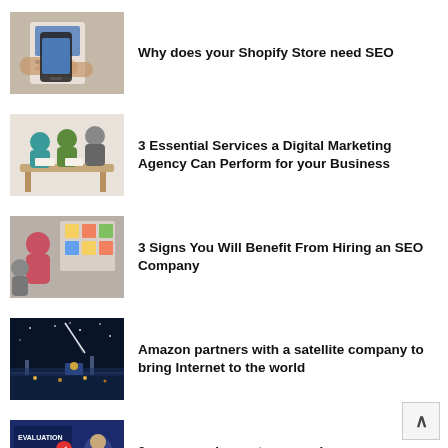[Figure (photo): Hands holding a smartphone with a notebook in background]
Why does your Shopify Store need SEO
[Figure (photo): People in a business meeting around a table]
3 Essential Services a Digital Marketing Agency Can Perform for your Business
[Figure (photo): Person presenting in front of a whiteboard with sticky notes]
3 Signs You Will Benefit From Hiring an SEO Company
[Figure (photo): Night cityscape with bridge and lights]
Amazon partners with a satellite company to bring Internet to the world
[Figure (photo): Evaluation/reviews concept with stars and checkmark]
3 reasons why customer reviews are important for your business and your brand